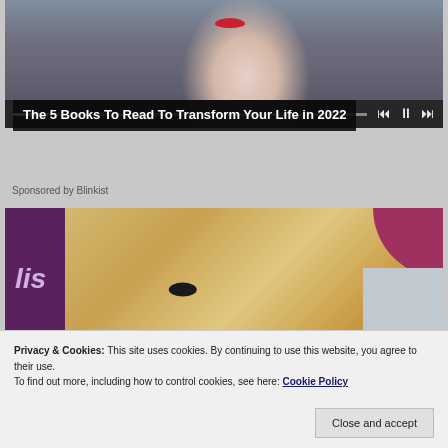[Figure (screenshot): Video player showing a woman with dark hair and red lips, with playback controls at the bottom]
The 5 Books To Read To Transform Your Life in 2022
Sponsored by Blinkist
[Figure (photo): Photo of a blonde woman with dark eye makeup, with purple/magenta banner and logo on the right]
Privacy & Cookies: This site uses cookies. By continuing to use this website, you agree to their use.
To find out more, including how to control cookies, see here: Cookie Policy
Close and accept